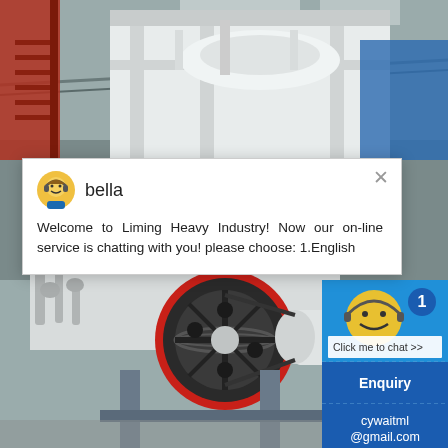[Figure (photo): Industrial heavy machinery (cone crusher) in a factory/workshop setting. Large white industrial crusher machine visible with red flywheel, conveyor components, and factory infrastructure in the background.]
bella
Welcome to Liming Heavy Industry! Now our on-line service is chatting with you! please choose: 1.English
Click me to chat >>
1
Enquiry
cywaitml
@gmail.com